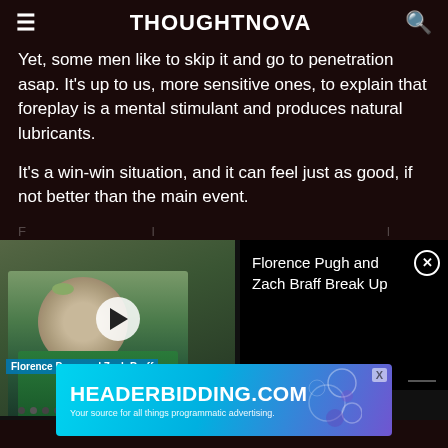THOUGHTNOVA
Yet, some men like to skip it and go to penetration asap. It's up to us, more sensitive ones, to explain that foreplay is a mental stimulant and produces natural lubricants.
It's a win-win situation, and it can feel just as good, if not better than the main event.
[Figure (screenshot): Video player thumbnail showing Florence Pugh with play button overlay, labeled 'Florence Pugh and Zach Braff Break Up']
[Figure (screenshot): Advertisement banner for HEADERBIDDING.COM with tagline 'Your source for all things programmatic advertising.']